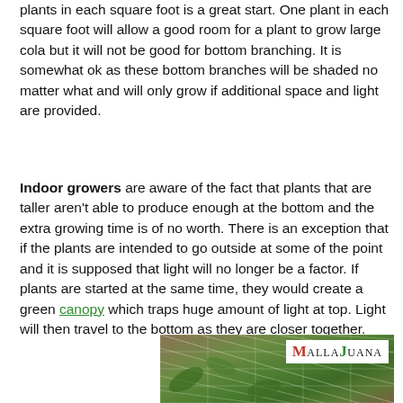plants in each square foot is a great start. One plant in each square foot will allow a good room for a plant to grow large cola but it will not be good for bottom branching. It is somewhat ok as these bottom branches will be shaded no matter what and will only grow if additional space and light are provided.
Indoor growers are aware of the fact that plants that are taller aren't able to produce enough at the bottom and the extra growing time is of no worth. There is an exception that if the plants are intended to go outside at some of the point and it is supposed that light will no longer be a factor. If plants are started at the same time, they would create a green canopy which traps huge amount of light at top. Light will then travel to the bottom as they are closer together.
[Figure (photo): Photo of cannabis plants growing under a trellis net, with a MallaJuana logo overlay in the top right corner.]